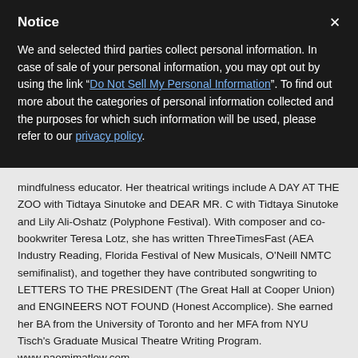Notice
We and selected third parties collect personal information. In case of sale of your personal information, you may opt out by using the link "Do Not Sell My Personal Information". To find out more about the categories of personal information collected and the purposes for which such information will be used, please refer to our privacy policy.
mindfulness educator. Her theatrical writings include A DAY AT THE ZOO with Tidtaya Sinutoke and DEAR MR. C with Tidtaya Sinutoke and Lily Ali-Oshatz (Polyphone Festival). With composer and co-bookwriter Teresa Lotz, she has written ThreeTimesFast (AEA Industry Reading, Florida Festival of New Musicals, O'Neill NMTC semifinalist), and together they have contributed songwriting to LETTERS TO THE PRESIDENT (The Great Hall at Cooper Union) and ENGINEERS NOT FOUND (Honest Accomplice). She earned her BA from the University of Toronto and her MFA from NYU Tisch's Graduate Musical Theatre Writing Program. www.naomimatlow.com